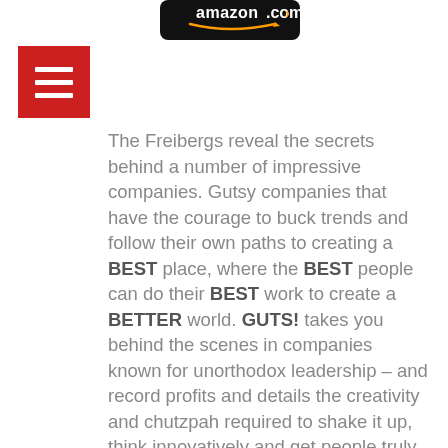[Figure (logo): Amazon.com logo button with orange arrow, black rounded rectangle background]
[Figure (other): Red square button with three white horizontal lines (hamburger menu icon)]
The Freibergs reveal the secrets behind a number of impressive companies. Gutsy companies that have the courage to buck trends and follow their own paths to creating a BEST place, where the BEST people can do their BEST work to create a BETTER world. GUTS! takes you behind the scenes in companies known for unorthodox leadership – and record profits and details the creativity and chutzpah required to shake it up, think innovatively and get people truly engaged.